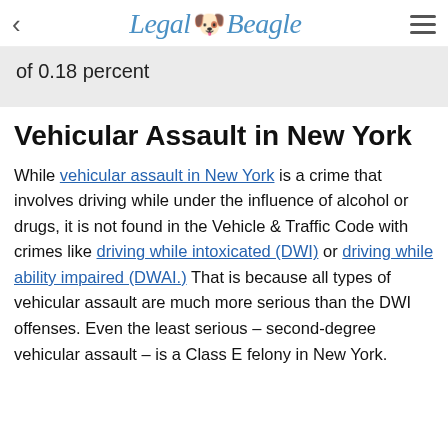Legal Beagle
of 0.18 percent
Vehicular Assault in New York
While vehicular assault in New York is a crime that involves driving while under the influence of alcohol or drugs, it is not found in the Vehicle & Traffic Code with crimes like driving while intoxicated (DWI) or driving while ability impaired (DWAI.) That is because all types of vehicular assault are much more serious than the DWI offenses. Even the least serious – second-degree vehicular assault – is a Class E felony in New York.